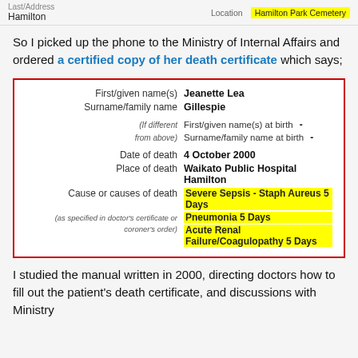Last/Address: Hamilton | Location: Hamilton Park Cemetery
So I picked up the phone to the Ministry of Internal Affairs and ordered a certified copy of her death certificate which says;
| Field | Value |
| --- | --- |
| First/given name(s) | Jeanette Lea |
| Surname/family name | Gillespie |
| (If different from above) First/given name(s) at birth | - |
| (If different from above) Surname/family name at birth | - |
| Date of death | 4 October 2000 |
| Place of death | Waikato Public Hospital Hamilton |
| Cause or causes of death (as specified in doctor's certificate or coroner's order) | Severe Sepsis - Staph Aureus 5 Days
Pneumonia 5 Days
Acute Renal Failure/Coagulopathy 5 Days |
I studied the manual written in 2000, directing doctors how to fill out the patient's death certificate, and discussions with Ministry